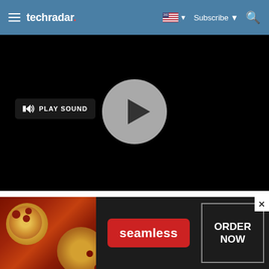techradar
[Figure (screenshot): Black video player with a circular play button (gray circle with dark triangle) in the center, and a 'PLAY SOUND' button with speaker icon on the left side]
[Figure (photo): Seamless food delivery advertisement banner showing pizza on the left, Seamless red logo badge in center, and 'ORDER NOW' button on the right with a close X button in the top right corner]